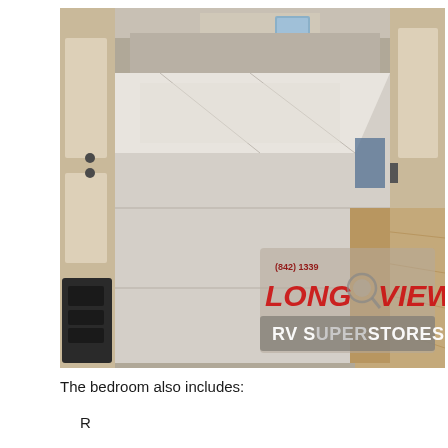[Figure (photo): Interior photo of an RV bedroom showing a bare mattress on a bed frame, flanked by cabinetry with light wood finish on both sides. The mattress appears light gray/beige and takes up most of the narrow room. Wood laminate flooring is visible on the right side. A small window is visible at the far end. A 'Long View RV SuperStores' watermark logo is overlaid in the lower right corner of the photo.]
The bedroom also includes:
R...